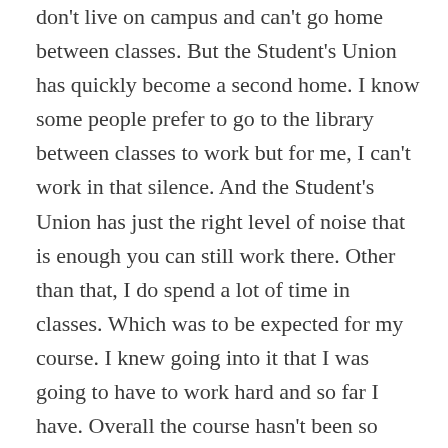don't live on campus and can't go home between classes. But the Student's Union has quickly become a second home. I know some people prefer to go to the library between classes to work but for me, I can't work in that silence. And the Student's Union has just the right level of noise that is enough you can still work there. Other than that, I do spend a lot of time in classes. Which was to be expected for my course. I knew going into it that I was going to have to work hard and so far I have. Overall the course hasn't been so bad. I find the pace easy enough to keep up with and I haven't been having too many difficulties. I have had a few problems with programming (which if you follow me on Twitter, you know all about) but I have been working on it a lot and I understand things better now. Considering I have